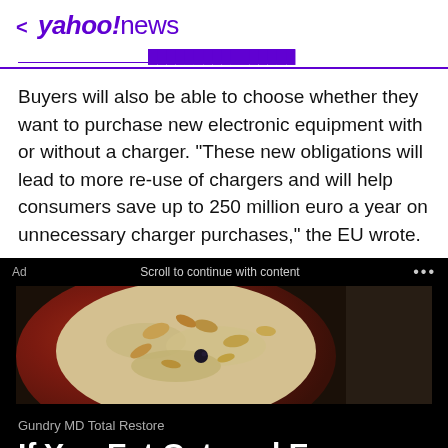< yahoo!news
Buyers will also be able to choose whether they want to purchase new electronic equipment with or without a charger. "These new obligations will lead to more re-use of chargers and will help consumers save up to 250 million euro a year on unnecessary charger purchases," the EU wrote.
[Figure (photo): Advertisement showing a bowl of oatmeal with nuts and berries on a black background, labeled 'Ad' with 'Scroll to continue with content' text]
Gundry MD Total Restore
If You Eat Oatmeal Every Day, This Is What